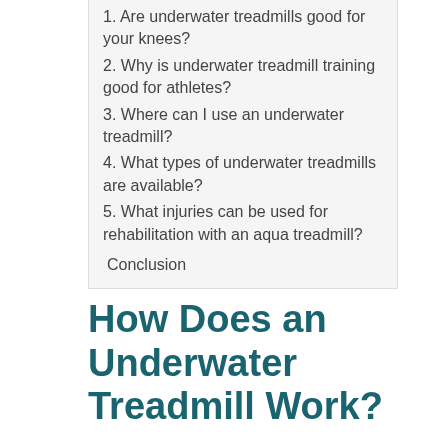1. Are underwater treadmills good for your knees?
2. Why is underwater treadmill training good for athletes?
3. Where can I use an underwater treadmill?
4. What types of underwater treadmills are available?
5. What injuries can be used for rehabilitation with an aqua treadmill?
Conclusion
How Does an Underwater Treadmill Work?